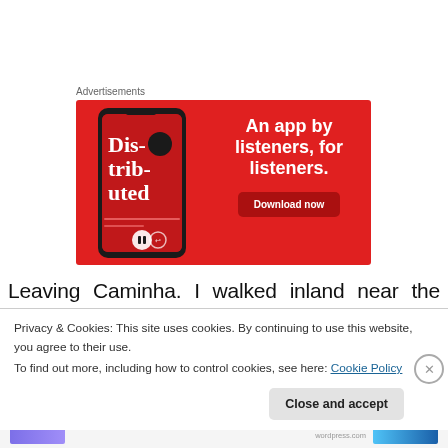Advertisements
[Figure (screenshot): Red advertisement banner for a podcast app showing a phone with 'Dis-tribu-ted' podcast artwork, headline 'An app by listeners, for listeners.' and a 'Download now' button.]
Leaving Caminha. I walked inland near the Miño River
Privacy & Cookies: This site uses cookies. By continuing to use this website, you agree to their use.
To find out more, including how to control cookies, see here: Cookie Policy
Close and accept